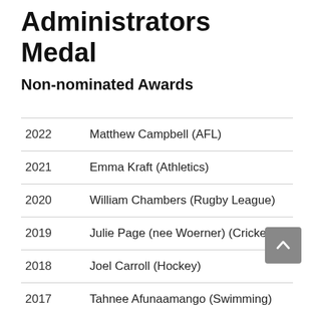Administrators Medal
Non-nominated Awards
| Year | Name |
| --- | --- |
| 2022 | Matthew Campbell (AFL) |
| 2021 | Emma Kraft (Athletics) |
| 2020 | William Chambers (Rugby League) |
| 2019 | Julie Page (nee Woerner) (Cricket) |
| 2018 | Joel Carroll (Hockey) |
| 2017 | Tahnee Afunaamango (Swimming) |
| 2016 | Ronald Voukolos (Ten Pin Bowling) |